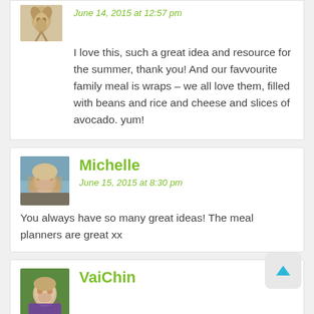June 14, 2015 at 12:57 pm
I love this, such a great idea and resource for the summer, thank you! And our favvourite family meal is wraps – we all love them, filled with beans and rice and cheese and slices of avocado. yum!
Michelle
June 15, 2015 at 8:30 pm
You always have so many great ideas! The meal planners are great xx
VaiChin
@RamblingThroughParenthood
June 15, 2015 at 9:01 pm
The planner is such a clever idea. It will stop us having to